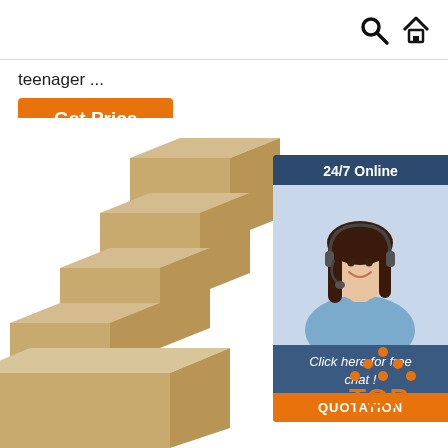[Search icon] [Home icon]
teenager ...
Get Price
[Figure (photo): Stack of MDF wood board strips arranged diagonally, showing cross-section texture]
[Figure (infographic): 24/7 Online customer chat widget with photo of smiling female agent wearing headset, 'Click here for free chat!' text and QUOTATION button]
[Figure (other): TOP button with orange dots forming triangle above orange TOP text]